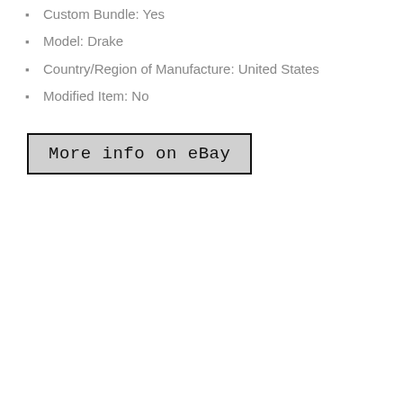Custom Bundle: Yes
Model: Drake
Country/Region of Manufacture: United States
Modified Item: No
[Figure (screenshot): Button with text 'More info on eBay' styled with a gray background and black border]